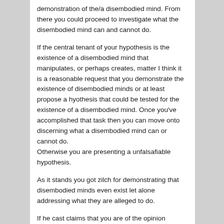demonstration of the/a disembodied mind. From there you could proceed to investigate what the disembodied mind can and cannot do.
If the central tenant of your hypothesis is the existence of a disembodied mind that manipulates, or perhaps creates, matter I think it is a reasonable request that you demonstrate the existence of disembodied minds or at least propose a hyothesis that could be tested for the existence of a disembodied mind. Once you've accomplished that task then you can move onto discerning what a disembodied mind can or cannot do.
Otherwise you are presenting a unfalsafiable hypothesis.
As it stands you got zilch for demonstrating that disembodied minds even exist let alone addressing what they are alleged to do.
If he cast claims that you are of the opinion...